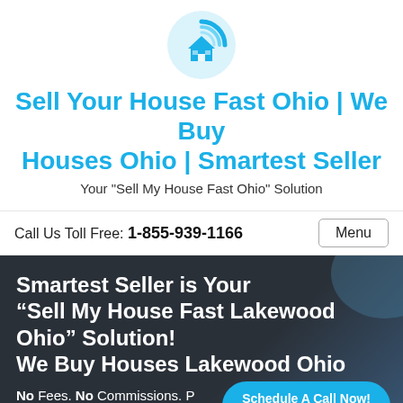[Figure (logo): Circular blue logo with a house icon in the center, concentric blue arcs in the background]
Sell Your House Fast Ohio | We Buy Houses Ohio | Smartest Seller
Your "Sell My House Fast Ohio" Solution
Call Us Toll Free: 1-855-939-1166
Menu
Smartest Seller is Your “Sell My House Fast Lakewood Ohio” Solution! We Buy Houses Lakewood Ohio
No Fees. No Commissions. Profit Stays In Your Pocket.
Schedule A Call Now! powered by Calendly